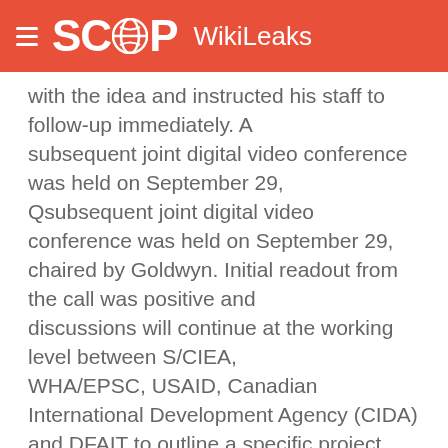SCOOP WikiLeaks
with the idea and instructed his staff to follow-up immediately. A subsequent joint digital video conference was held on September 29, Qsubsequent joint digital video conference was held on September 29, chaired by Goldwyn. Initial readout from the call was positive and discussions will continue at the working level between S/CIEA, WHA/EPSC, USAID, Canadian International Development Agency (CIDA) and DFAIT to outline a specific project and determine necessary